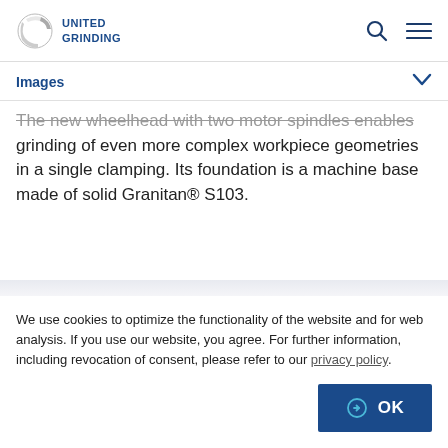UNITED GRINDING
Images
The new wheelhead with two motor spindles enables grinding of even more complex workpiece geometries in a single clamping. Its foundation is a machine base made of solid Granitan® S103.
We use cookies to optimize the functionality of the website and for web analysis. If you use our website, you agree. For further information, including revocation of consent, please refer to our privacy policy.